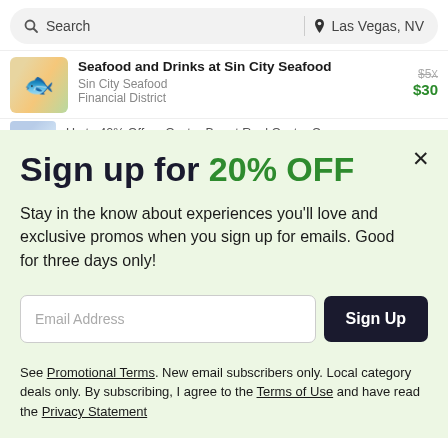Search | Las Vegas, NV
Seafood and Drinks at Sin City Seafood — Sin City Seafood, Financial District — $30 (was $5X)
Up to 40% Off on Oyster Bar at Real Oyster Cu...
Sign up for 20% OFF
Stay in the know about experiences you'll love and exclusive promos when you sign up for emails. Good for three days only!
Email Address [Sign Up button]
See Promotional Terms. New email subscribers only. Local category deals only. By subscribing, I agree to the Terms of Use and have read the Privacy Statement